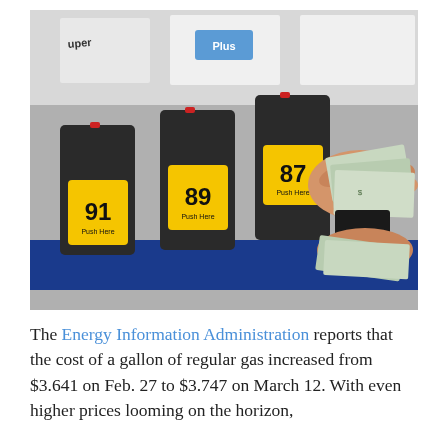[Figure (photo): Photograph of a gas station pump showing three yellow grade selector buttons labeled 91 (Push Here), 89 (Push Here), and 87 (Push Here), with a person's hand holding US dollar bills near the payment slot. Background shows gas pump display panels with labels 'Super' and 'Plus' visible.]
The Energy Information Administration reports that the cost of a gallon of regular gas increased from $3.641 on Feb. 27 to $3.747 on March 12. With even higher prices looming on the horizon,